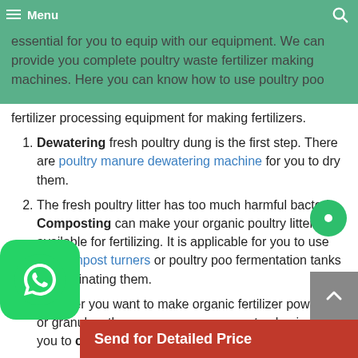essential for you to equip with our equipment. We can provide you complete poultry waste fertilizer making machines. Here you can know how to use poultry poo fertilizer processing equipment for making fertilizers.
fertilizer processing equipment for making fertilizers.
Dewatering fresh poultry dung is the first step. There are poultry manure dewatering machine for you to dry them.
The fresh poultry litter has too much harmful bacteria. Composting can make your organic poultry litter available for fertilizing. It is applicable for you to use our compost turners or poultry poo fermentation tanks for eliminating them.
Whether you want to make organic fertilizer powders or granules, there are manure compost pulverizers for you to crush powder.
If you want to make granules, you can use our
Send for Detailed Price